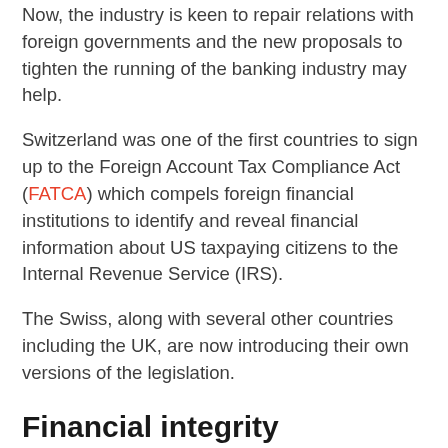Now, the industry is keen to repair relations with foreign governments and the new proposals to tighten the running of the banking industry may help.
Switzerland was one of the first countries to sign up to the Foreign Account Tax Compliance Act (FATCA) which compels foreign financial institutions to identify and reveal financial information about US taxpaying citizens to the Internal Revenue Service (IRS).
The Swiss, along with several other countries including the UK, are now introducing their own versions of the legislation.
Financial integrity